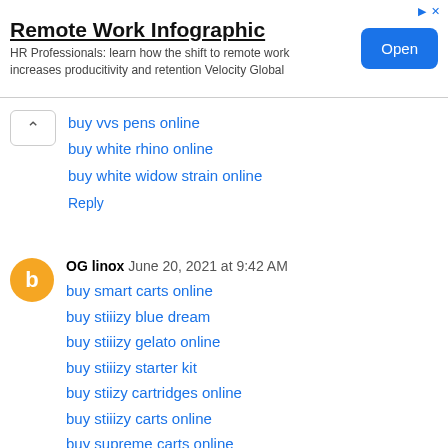[Figure (infographic): Advertisement banner for 'Remote Work Infographic' by Velocity Global with an Open button]
buy vvs pens online
buy white rhino online
buy white widow strain online
Reply
OG linox  June 20, 2021 at 9:42 AM
buy smart carts online
buy stiiizy blue dream
buy stiiizy gelato online
buy stiiizy starter kit
buy stiizy cartridges online
buy stiiizy carts online
buy supreme carts online
Reply